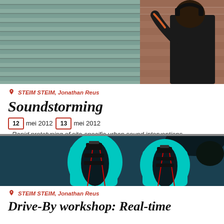[Figure (photo): Person wearing black headphones and dark clothing, reaching toward a green slatted ventilation structure against a brick wall background]
STEIM STEIM, Jonathan Reus
Soundstorming
12 mei 2012  13 mei 2012  - Rapid prototyping of site-specific urban sound interventions
[Figure (photo): Thermal or infrared-style image showing two silhouetted figures in cyan/teal against dark background with red lines extending downward from their torsos]
STEIM STEIM, Jonathan Reus
Drive-By workshop: Real-time